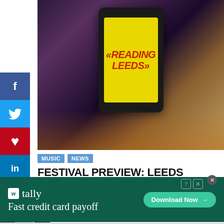[Figure (photo): Smartphone displaying the Reading Leeds festival logo on a yellow screen, held up against a blurred concert crowd with colourful stage lighting in the background.]
f (Facebook share button)
Twitter share button
Pinterest share button
LinkedIn share button
Tumblr share button
MUSIC | NEWS
FESTIVAL PREVIEW: LEEDS FESTIVAL 2022 – SATURDAY
ERIN MOORE  AUGUST 23, 2022
[Figure (screenshot): Infolinks advertisement banner: Tally app — Fast credit card payoff. Download Now button on dark green background.]